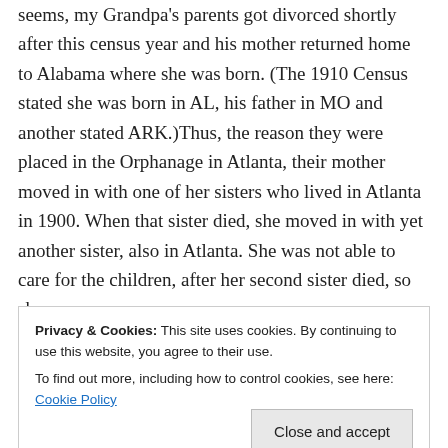seems, my Grandpa's parents got divorced shortly after this census year and his mother returned home to Alabama where she was born. (The 1910 Census stated she was born in AL, his father in MO and another stated ARK.)Thus, the reason they were placed in the Orphanage in Atlanta, their mother moved in with one of her sisters who lived in Atlanta in 1900. When that sister died, she moved in with yet another sister, also in Atlanta. She was not able to care for the children, after her second sister died, so she
Privacy & Cookies: This site uses cookies. By continuing to use this website, you agree to their use.
To find out more, including how to control cookies, see here: Cookie Policy
or 6 matches or Show lines. One of those